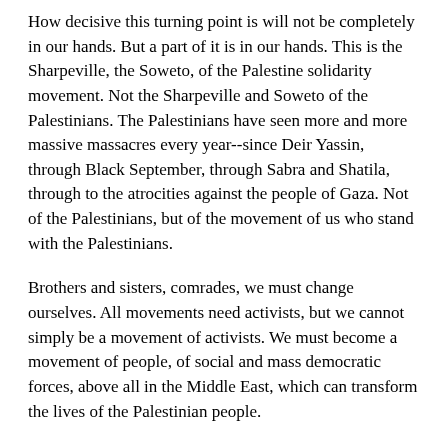How decisive this turning point is will not be completely in our hands. But a part of it is in our hands. This is the Sharpeville, the Soweto, of the Palestine solidarity movement. Not the Sharpeville and Soweto of the Palestinians. The Palestinians have seen more and more massive massacres every year--since Deir Yassin, through Black September, through Sabra and Shatila, through to the atrocities against the people of Gaza. Not of the Palestinians, but of the movement of us who stand with the Palestinians.
Brothers and sisters, comrades, we must change ourselves. All movements need activists, but we cannot simply be a movement of activists. We must become a movement of people, of social and mass democratic forces, above all in the Middle East, which can transform the lives of the Palestinian people.
People ask me whether there will be more flotillas